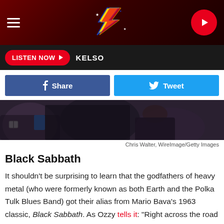ZZZ Radio — LISTEN NOW | KELSO
[Figure (screenshot): Website header with hamburger menu, stylized lightning-bolt logo, and circular red play button on dark red textured background]
[Figure (photo): Cropped photo of Black Sabbath band members wearing dark leather jackets]
Chris Walter, WireImage/Getty Images
Black Sabbath
It shouldn't be surprising to learn that the godfathers of heavy metal (who were formerly known as both Earth and the Polka Tulk Blues Band) got their alias from Mario Bava's 1963 classic, Black Sabbath. As Ozzy tells it: “Right across the road from our rehearsal room was a cinema that showed mainly horror movies.” After noticing the theater’s growing crowd, he and bassist Geezer Butler wrote the title track of